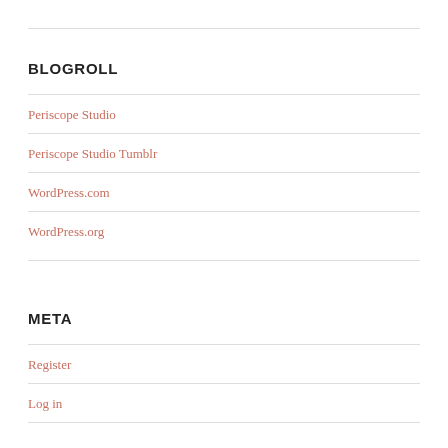BLOGROLL
Periscope Studio
Periscope Studio Tumblr
WordPress.com
WordPress.org
META
Register
Log in